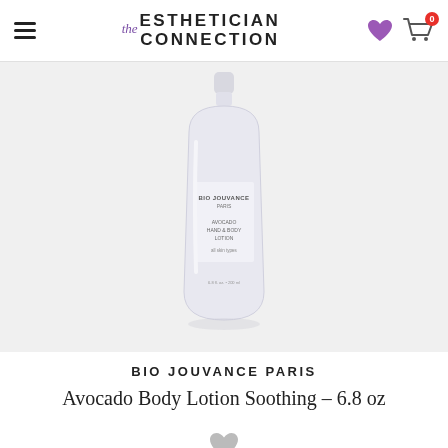The Esthetician Connection
[Figure (photo): White Bio Jouvance Paris Avocado Hand & Body Lotion bottle (6.8 oz) on light gray background]
BIO JOUVANCE PARIS
Avocado Body Lotion Soothing – 6.8 oz